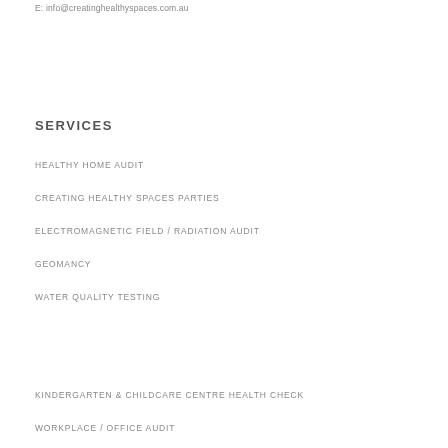E: info@creatinghealthyspaces.com.au
SERVICES
HEALTHY HOME AUDIT
CREATING HEALTHY SPACES PARTIES
ELECTROMAGNETIC FIELD / RADIATION AUDIT
GEOMANCY
WATER QUALITY TESTING
KINDERGARTEN & CHILDCARE CENTRE HEALTH CHECK
WORKPLACE / OFFICE AUDIT